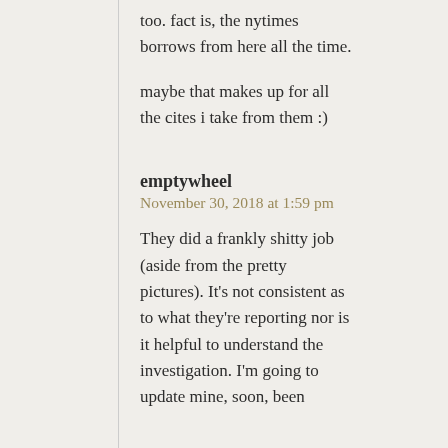too. fact is, the nytimes borrows from here all the time.
maybe that makes up for all the cites i take from them :)
emptywheel
November 30, 2018 at 1:59 pm
They did a frankly shitty job (aside from the pretty pictures). It’s not consistent as to what they’re reporting nor is it helpful to understand the investigation. I’m going to update mine, soon, been